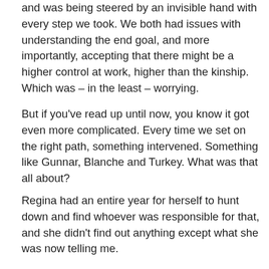and was being steered by an invisible hand with every step we took. We both had issues with understanding the end goal, and more importantly, accepting that there might be a higher control at work, higher than the kinship. Which was – in the least – worrying.
But if you've read up until now, you know it got even more complicated. Every time we set on the right path, something intervened. Something like Gunnar, Blanche and Turkey. What was that all about?
Regina had an entire year for herself to hunt down and find whoever was responsible for that, and she didn't find out anything except what she was now telling me.
Picking up on a trail born out of the deepest corners of Russian folklore, along with other clues, such as the location, the names involved and the markings. Yes, the